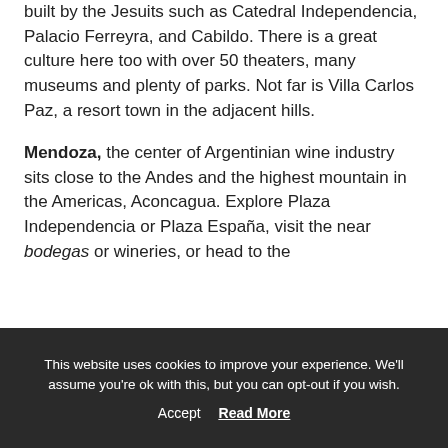built by the Jesuits such as Catedral Independencia, Palacio Ferreyra, and Cabildo. There is a great culture here too with over 50 theaters, many museums and plenty of parks. Not far is Villa Carlos Paz, a resort town in the adjacent hills.
Mendoza, the center of Argentinian wine industry sits close to the Andes and the highest mountain in the Americas, Aconcagua. Explore Plaza Independencia or Plaza España, visit the near bodegas or wineries, or head to the
This website uses cookies to improve your experience. We'll assume you're ok with this, but you can opt-out if you wish. Accept Read More